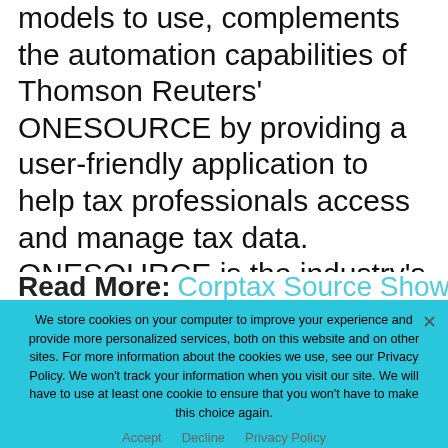models to use, complements the automation capabilities of Thomson Reuters' ONESOURCE by providing a user-friendly application to help tax professionals access and manage tax data. ONESOURCE is the industry's most powerful corporate tax technology platform and drives global tax compliance and accounting decision-making around the world.
Read More: Corptax Source Shows 37 Percent of
We store cookies on your computer to improve your experience and provide more personalized services, both on this website and on other sites. For more information about the cookies we use, see our Privacy Policy. We won't track your information when you visit our site. We will have to use at least one cookie to ensure that you won't have to make this choice again.
Accept   Decline   Privacy Policy